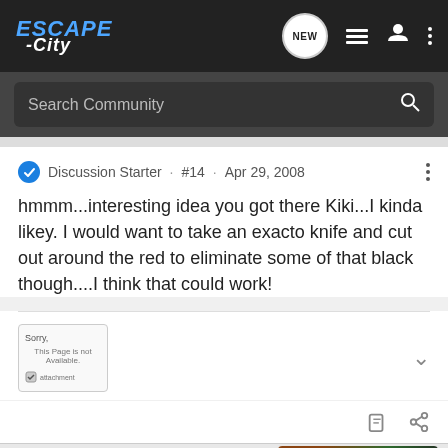[Figure (screenshot): ESCAPE-City website navigation bar with logo, NEW badge, list icon, user icon, and three-dot menu]
Search Community
Discussion Starter · #14 · Apr 29, 2008
hmmm...interesting idea you got there Kiki...I kinda likey. I would want to take an exacto knife and cut out around the red to eliminate some of that black though....I think that could work!
[Figure (screenshot): Small attachment thumbnail showing Sorry, this page is not available message with checkbox]
[Figure (screenshot): Advertisement bar with D app icon, unicef logo, and photo of children]